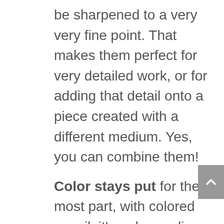be sharpened to a very very fine point. That makes them perfect for very detailed work, or for adding that detail onto a piece created with a different medium. Yes, you can combine them!
Color stays put for the most part, with colored pencil; it's a dry medium, and won't bleed when it touches another color next to it. It will, however, smoodge if you lay your hand across it, so be aware of that and place a protective piece of paper below your hand to protect your work.
The best controlled color mixing happens with colored pencils; adding light layers of